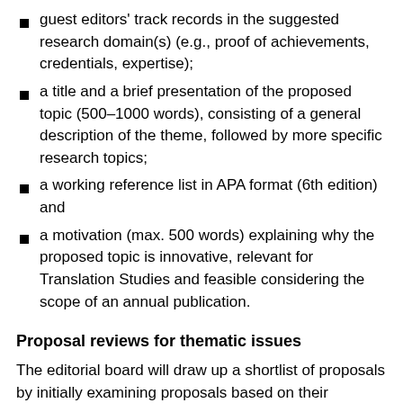guest editors' track records in the suggested research domain(s) (e.g., proof of achievements, credentials, expertise);
a title and a brief presentation of the proposed topic (500–1000 words), consisting of a general description of the theme, followed by more specific research topics;
a working reference list in APA format (6th edition) and
a motivation (max. 500 words) explaining why the proposed topic is innovative, relevant for Translation Studies and feasible considering the scope of an annual publication.
Proposal reviews for thematic issues
The editorial board will draw up a shortlist of proposals by initially examining proposals based on their originality, international thematic relevance, innovativeness and